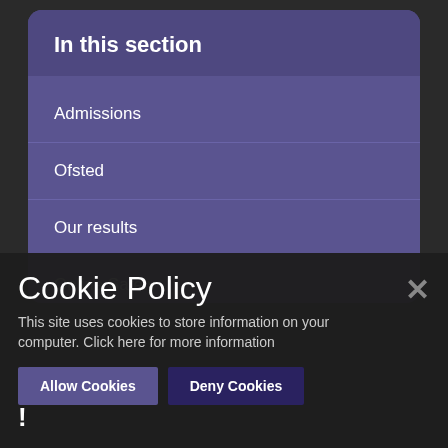In this section
Admissions
Ofsted
Our results
Online Safety
Cookie Policy
This site uses cookies to store information on your computer. Click here for more information
Allow Cookies
Deny Cookies